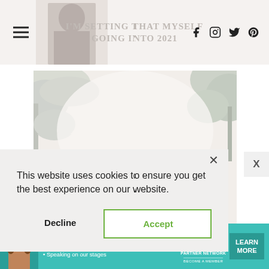I'M SETTING THAT MYSELF GOING INTO 2021
[Figure (photo): Blog article main photo showing person under trees with light-colored background, trees visible in upper corners]
This website uses cookies to ensure you get the best experience on our website.
Decline  Accept
[Figure (infographic): SHE Partner Network advertisement banner with teal background, woman photo, bullet points: Earning site & social revenue, Traffic growth, Speaking on our stages. Logo and LEARN MORE button.]